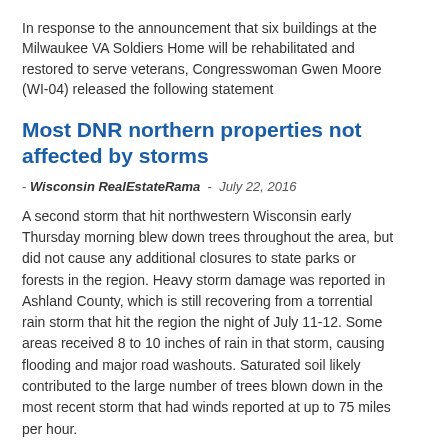In response to the announcement that six buildings at the Milwaukee VA Soldiers Home will be rehabilitated and restored to serve veterans, Congresswoman Gwen Moore (WI-04) released the following statement
Most DNR northern properties not affected by storms
- Wisconsin RealEstateRama  -  July 22, 2016
A second storm that hit northwestern Wisconsin early Thursday morning blew down trees throughout the area, but did not cause any additional closures to state parks or forests in the region. Heavy storm damage was reported in Ashland County, which is still recovering from a torrential rain storm that hit the region the night of July 11-12. Some areas received 8 to 10 inches of rain in that storm, causing flooding and major road washouts. Saturated soil likely contributed to the large number of trees blown down in the most recent storm that had winds reported at up to 75 miles per hour.
World Bank's Water Dealings Could Have Dangerous Repercussions on Global Community